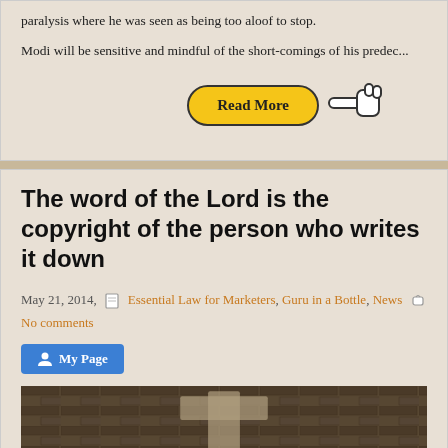paralysis where he was seen as being too aloof to stop.
Modi will be sensitive and mindful of the short-comings of his predec...
[Figure (illustration): Yellow 'Read More' button with pointer/hand cursor icon pointing left toward the button]
The word of the Lord is the copyright of the person who writes it down
May 21, 2014,  Essential Law for Marketers, Guru in a Bottle, News  No comments
[Figure (illustration): 'My Page' blue button with person icon]
[Figure (photo): Dark stonework or ruined architectural scene with what appears to be a cross or letter T shape in lighter tones]